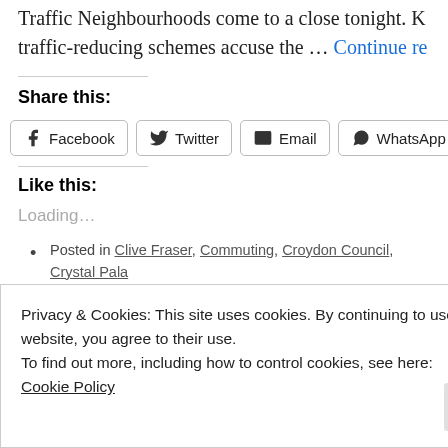Traffic Neighbourhoods come to a close tonight. K traffic-reducing schemes accuse the … Continue re
Share this:
[Figure (other): Row of share buttons: Facebook, Twitter, Email, WhatsApp, More]
Like this:
Loading...
Posted in Clive Fraser, Commuting, Croydon Council, Crystal Pala Ryan, South Norwood, TfL, Transport | Tagged Addiscombe, Broa
Privacy & Cookies: This site uses cookies. By continuing to use this website, you agree to their use.
To find out more, including how to control cookies, see here:
Cookie Policy